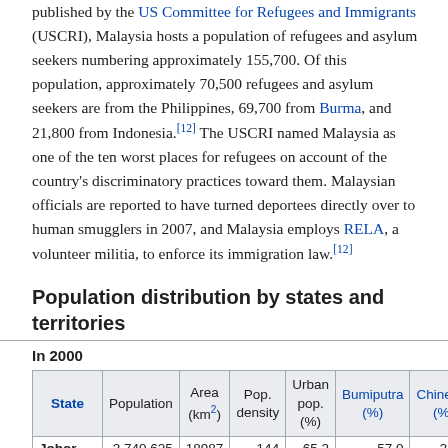published by the US Committee for Refugees and Immigrants (USCRI), Malaysia hosts a population of refugees and asylum seekers numbering approximately 155,700. Of this population, approximately 70,500 refugees and asylum seekers are from the Philippines, 69,700 from Burma, and 21,800 from Indonesia.[12] The USCRI named Malaysia as one of the ten worst places for refugees on account of the country's discriminatory practices toward them. Malaysian officials are reported to have turned deportees directly over to human smugglers in 2007, and Malaysia employs RELA, a volunteer militia, to enforce its immigration law.[12]
Population distribution by states and territories
In 2000
| State | Population | Area (km²) | Pop. density | Urban pop. (%) | Bumiputra (%) | Chinese (%) |
| --- | --- | --- | --- | --- | --- | --- |
| Johor | 2,740,625 | 18987 | 144 | 65.2 | 57.0 | 35.5 |
| Kedah | 1,649,756 | 9425 | 175 | 39.3 | 76.6 | 14.9 |
| Kelantan | 1,313,014 | 15024 | 87 | 34.2 | 95.0 | 3.8 |
| Malacca | 635,791 | 1652 | 385 | 67.2 | 62.8 | 30.1 |
| Negeri | 859,024 | 6644 | 129 | 52.4 | 59.9 | 35. |